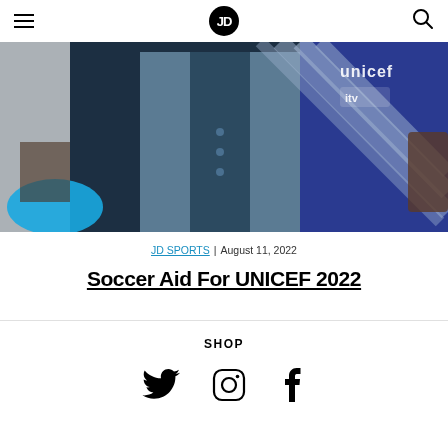JD Sports logo, hamburger menu, search icon
[Figure (photo): Hero image showing people at Soccer Aid for UNICEF 2022 event, with UNICEF and ITV logos visible, one person in a blue suit jacket, another in a striped blue/black jersey]
JD SPORTS | August 11, 2022
Soccer Aid For UNICEF 2022
SHOP
[Figure (other): Social media icons: Twitter bird, Instagram camera, Facebook f]